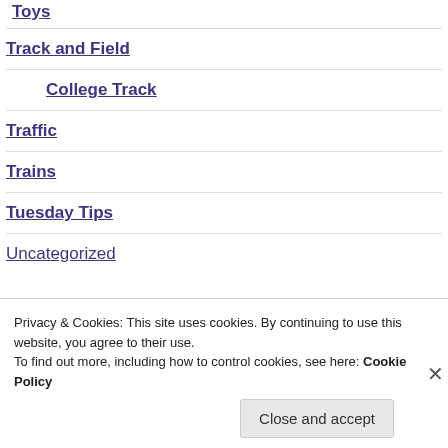Toys
Track and Field
College Track
Traffic
Trains
Tuesday Tips
Uncategorized
Privacy & Cookies: This site uses cookies. By continuing to use this website, you agree to their use. To find out more, including how to control cookies, see here: Cookie Policy
Close and accept